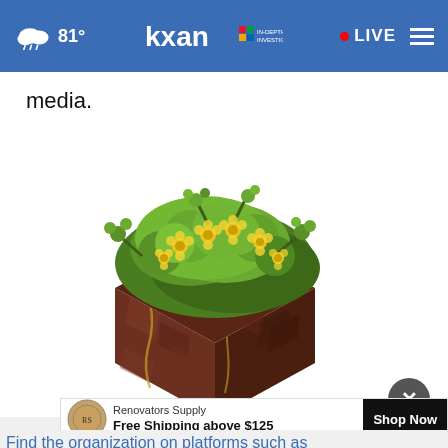81° KXAN IN-DEPTH INVESTIGATIVE • LIVE
media.
[Figure (illustration): 3D isometric illustration of a grass and flower topped dirt cube, showing a rocky brown base with green leafy foliage and yellow flowers on top, game-art style]
Renovators Supply Free Shipping above $125
Find the organization on platforms such as